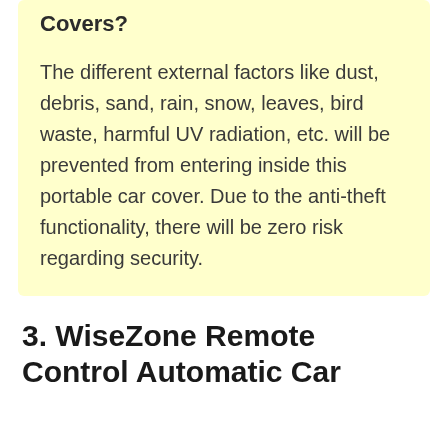Covers?
The different external factors like dust, debris, sand, rain, snow, leaves, bird waste, harmful UV radiation, etc. will be prevented from entering inside this portable car cover. Due to the anti-theft functionality, there will be zero risk regarding security.
3. WiseZone Remote Control Automatic Car